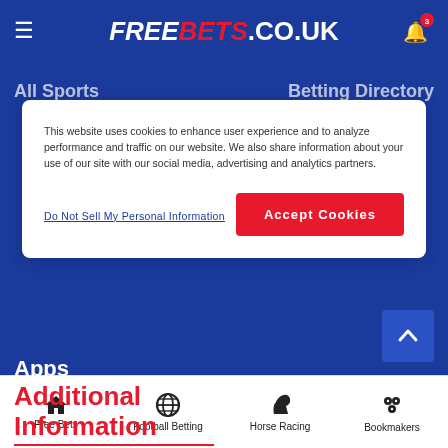FREEBETS.CO.UK
This website uses cookies to enhance user experience and to analyze performance and traffic on our website. We also share information about your use of our site with our social media, advertising and analytics partners.
Do Not Sell My Personal Information
Accept Cookies
Apps
Additional Information
About
Privacy Policy
Terms of Use
Free Bets  Football Betting  Horse Racing  Bookmakers